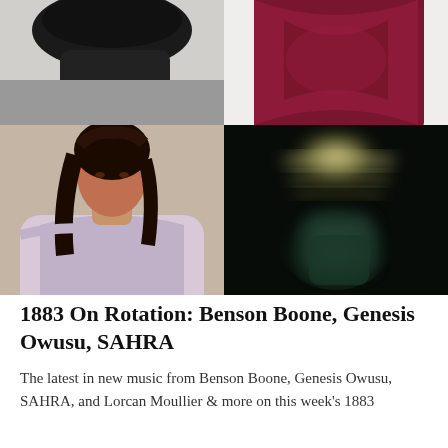[Figure (photo): 2x2 photo grid: top-left shows dark black clothing/hat on grey background; top-right shows burgundy/red draped clothing; bottom-left shows a young woman with curly hair in a lavender off-shoulder outfit; bottom-right shows a blurred dark figure with glowing green/yellow tones]
1883 On Rotation: Benson Boone, Genesis Owusu, SAHRA
The latest in new music from Benson Boone, Genesis Owusu, SAHRA, and Lorcan Moullier & more on this week's 1883